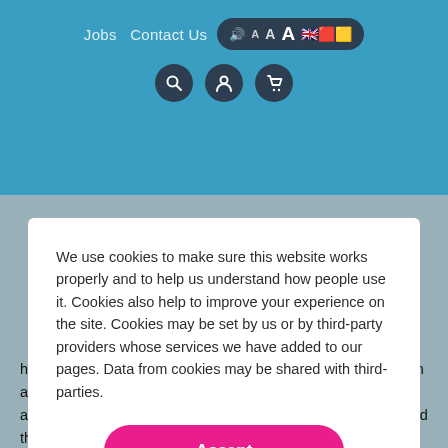Jobs  Contact Us  A A A [accessibility icons]
[Figure (screenshot): Website header bar with navigation links 'Jobs', 'Contact Us', accessibility controls (speaker, font size A A A, flag icons), and icon buttons for search, account, and cart]
We use cookies to make sure this website works properly and to help us understand how people use it. Cookies also help to improve your experience on the site. Cookies may be set by us or by third-party providers whose services we have added to our pages. Data from cookies may be shared with third-parties.
Accept
Manage your cookie settings
home address and tick the gift aid box on the sponsorship form and on your online giving page. If we can claim gift aid, we get an extra 25%! Just think - if you raise £100 and everyone ticked the box then you've actually raised £125 for us.